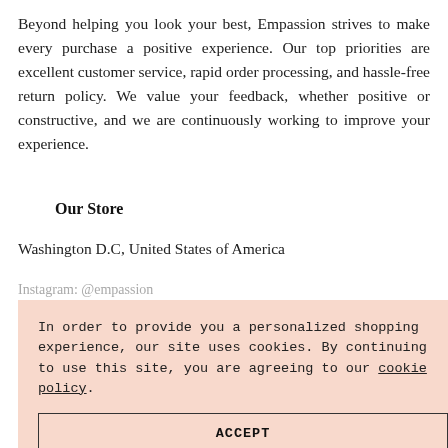Beyond helping you look your best, Empassion strives to make every purchase a positive experience. Our top priorities are excellent customer service, rapid order processing, and hassle-free return policy. We value your feedback, whether positive or constructive, and we are continuously working to improve your experience.
Our Store
Washington D.C, United States of America
Instagram: @empassion
In order to provide you a personalized shopping experience, our site uses cookies. By continuing to use this site, you are agreeing to our cookie policy.
ACCEPT